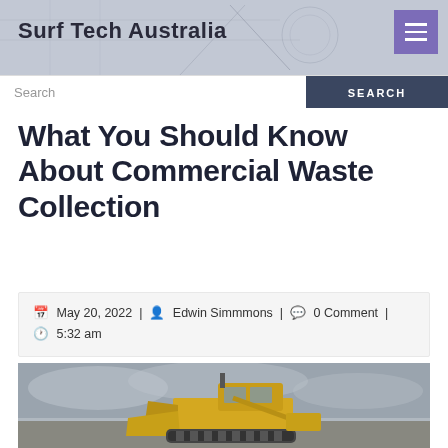Surf Tech Australia
What You Should Know About Commercial Waste Collection
May 20, 2022 | Edwin Simmmons | 0 Comment | 5:32 am
[Figure (photo): A yellow bulldozer/front loader against a cloudy grey sky, viewed from a low angle]